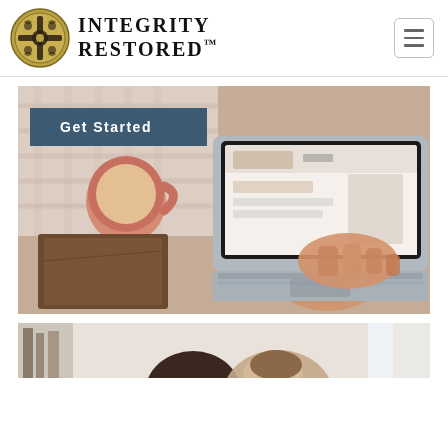[Figure (logo): Integrity Restored logo with ornate circular emblem and text 'INTEGRITY RESTORED.']
[Figure (photo): Photo of person typing on a MacBook laptop with a coffee cup and notebook nearby, overlaid with 'Get Started' banner in dark teal.]
[Figure (photo): Partial photo of two people, appears to be a couple, partially visible at bottom of page.]